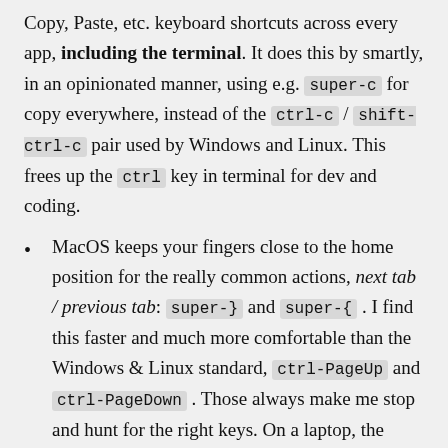Copy, Paste, etc. keyboard shortcuts across every app, including the terminal. It does this by smartly, in an opinionated manner, using e.g. super-c for copy everywhere, instead of the ctrl-c / shift-ctrl-c pair used by Windows and Linux. This frees up the ctrl key in terminal for dev and coding.
MacOS keeps your fingers close to the home position for the really common actions, next tab / previous tab: super-} and super-{ . I find this faster and much more comfortable than the Windows & Linux standard, ctrl-PageUp and ctrl-PageDown . Those always make me stop and hunt for the right keys. On a laptop, the